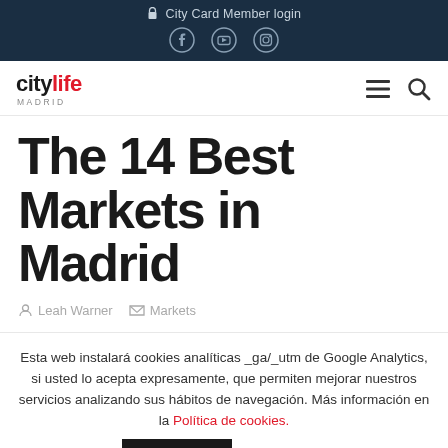🔒 City Card Member login
The 14 Best Markets in Madrid
Leah Warner  Markets
Esta web instalará cookies analíticas _ga/_utm de Google Analytics, si usted lo acepta expresamente, que permiten mejorar nuestros servicios analizando sus hábitos de navegación. Más información en la Política de cookies.
Accept  Read More